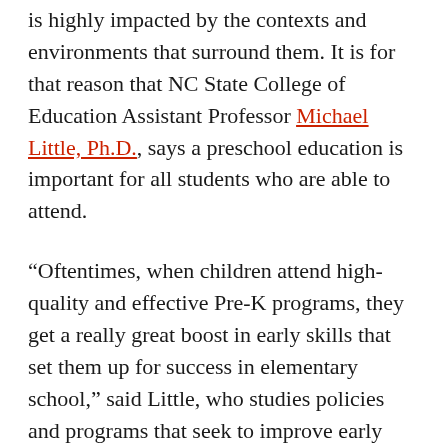is highly impacted by the contexts and environments that surround them. It is for that reason that NC State College of Education Assistant Professor Michael Little, Ph.D., says a preschool education is important for all students who are able to attend.
“Oftentimes, when children attend high-quality and effective Pre-K programs, they get a really great boost in early skills that set them up for success in elementary school,” said Little, who studies policies and programs that seek to improve early educational outcomes for students with a focus on connections between preschool and early elementary grades.
Decades of research have demonstrated the benefits of preschool, Little said, including a long-term study